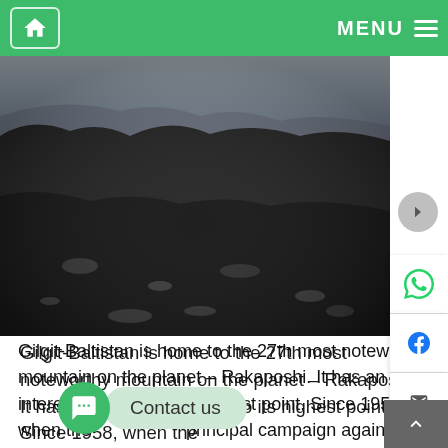Home | MENU
[Figure (photo): Rocky mountain glacier landscape with dark scree and ice/snow visible at the top — Rakaposhi area, Gilgit-Baltistan]
Gilgit-Baltistan is home to the 27th most noteworthy mountain on the planet – Rakaposhi. It has an interesting move to its highest point. Since 1958, when the principal campaign against Rakaposhi was effected, survivors have vanquished it. A great many people appreciate going to the Rakaposhi
Contact us